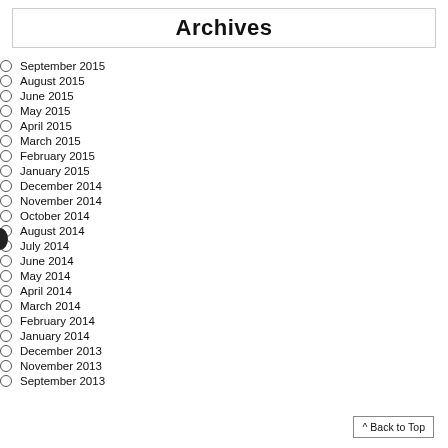Archives
September 2015
August 2015
June 2015
May 2015
April 2015
March 2015
February 2015
January 2015
December 2014
November 2014
October 2014
August 2014
July 2014
June 2014
May 2014
April 2014
March 2014
February 2014
January 2014
December 2013
November 2013
September 2013